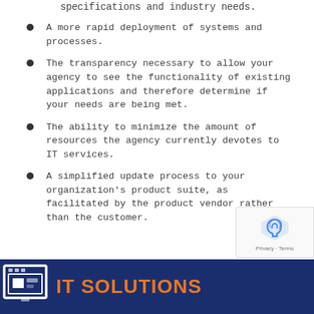specifications and industry needs.
A more rapid deployment of systems and processes.
The transparency necessary to allow your agency to see the functionality of existing applications and therefore determine if your needs are being met.
The ability to minimize the amount of resources the agency currently devotes to IT services.
A simplified update process to your organization's product suite, as facilitated by the product vendor rather than the customer.
IT SOLUTIONS
[Figure (logo): IT Solutions icon: blue square with monitor/computer graphic inside]